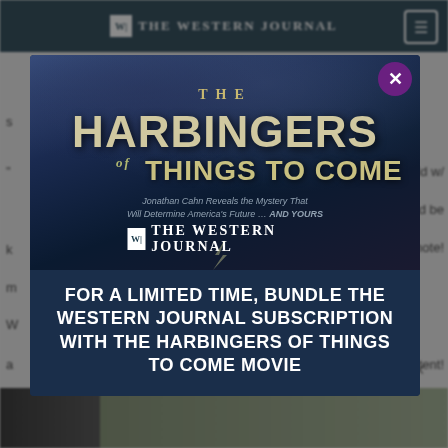THE WESTERN JOURNAL
[Figure (screenshot): Modal popup overlay on The Western Journal website. The modal shows a promotional advertisement for 'The Harbingers of Things to Come' movie bundled with a Western Journal subscription. The poster area shows the movie title in large bold metallic text against a dark atmospheric background with clouds. Below the poster is The Western Journal logo and the text 'FOR A LIMITED TIME, BUNDLE THE WESTERN JOURNAL SUBSCRIPTION WITH THE HARBINGERS OF THINGS TO COME MOVIE'. A purple close button (X) appears at the top right of the modal.]
FOR A LIMITED TIME, BUNDLE THE WESTERN JOURNAL SUBSCRIPTION WITH THE HARBINGERS OF THINGS TO COME MOVIE